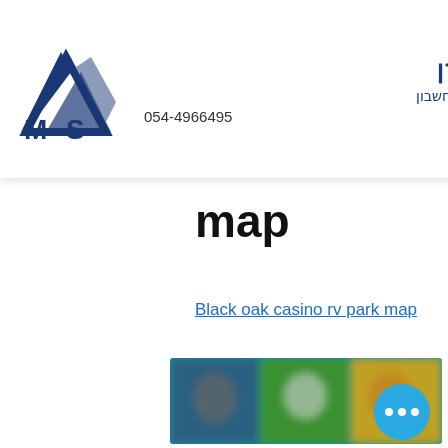[Figure (logo): MS logo with Hebrew text: משה שטרן, CPA MBA רואה חשבון, 054-4966495]
ark map
Black oak casino rv park map
[Figure (photo): Blurred screenshot of a casino or gaming app interface with colorful figures and dark background. A blue circular chat button with three dots is visible in the bottom right.]